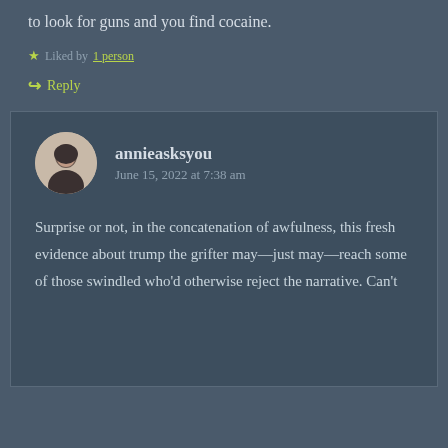to look for guns and you find cocaine.
Liked by 1 person
Reply
annieasksyou
June 15, 2022 at 7:38 am
Surprise or not, in the concatenation of awfulness, this fresh evidence about trump the grifter may—just may—reach some of those swindled who'd otherwise reject the narrative. Can't